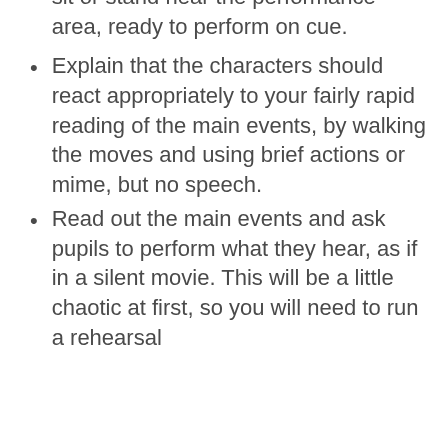sit or stand near the performance area, ready to perform on cue.
Explain that the characters should react appropriately to your fairly rapid reading of the main events, by walking the moves and using brief actions or mime, but no speech.
Read out the main events and ask pupils to perform what they hear, as if in a silent movie. This will be a little chaotic at first, so you will need to run a rehearsal